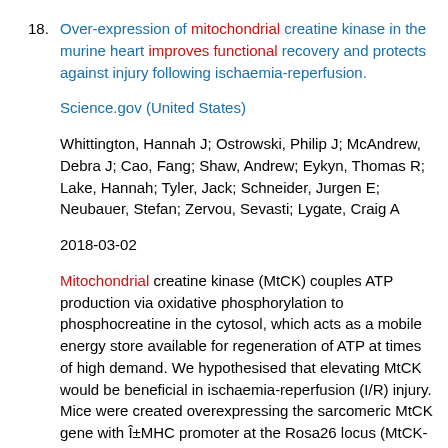18. Over-expression of mitochondrial creatine kinase in the murine heart improves functional recovery and protects against injury following ischaemia-reperfusion.
Science.gov (United States)
Whittington, Hannah J; Ostrowski, Philip J; McAndrew, Debra J; Cao, Fang; Shaw, Andrew; Eykyn, Thomas R; Lake, Hannah; Tyler, Jack; Schneider, Jurgen E; Neubauer, Stefan; Zervou, Sevasti; Lygate, Craig A
2018-03-02
Mitochondrial creatine kinase (MtCK) couples ATP production via oxidative phosphorylation to phosphocreatine in the cytosol, which acts as a mobile energy store available for regeneration of ATP at times of high demand. We hypothesised that elevating MtCK would be beneficial in ischaemia-reperfusion (I/R) injury. Mice were created overexpressing the sarcomeric MtCK gene with Î±MHC promoter at the Rosa26 locus (MtCK-OE) and compared with wild-type (WT) littermates. MtCK activity was 27% higher than WT, with no change in other CK isoenzymes or creatine levels. Electron microscopy confirmed normal